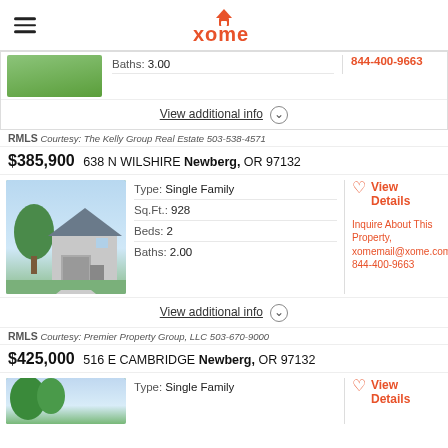xome
Baths: 3.00
844-400-9663
View additional info
RMLS Courtesy: The Kelly Group Real Estate 503-538-4571
$385,900  638 N WILSHIRE Newberg, OR 97132
Type: Single Family
Sq.Ft.: 928
Beds: 2
Baths: 2.00
View Details
Inquire About This Property, xomemail@xome.com, 844-400-9663
View additional info
RMLS Courtesy: Premier Property Group, LLC 503-670-9000
$425,000  516 E CAMBRIDGE Newberg, OR 97132
Type: Single Family
View Details